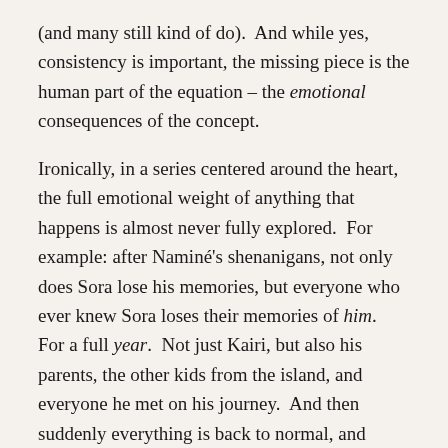(and many still kind of do).  And while yes, consistency is important, the missing piece is the human part of the equation – the emotional consequences of the concept.

Ironically, in a series centered around the heart, the full emotional weight of anything that happens is almost never fully explored.  For example: after Naminé's shenanigans, not only does Sora lose his memories, but everyone who ever knew Sora loses their memories of him.  For a full year.  Not just Kairi, but also his parents, the other kids from the island, and everyone he met on his journey.  And then suddenly everything is back to normal, and almost no one questions that anything was even out of place.  Other than some one-off nods from Leon's gang, it's practically never brought up again,